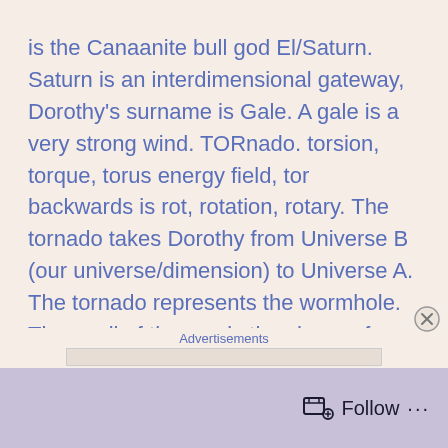is the Canaanite bull god El/Saturn. Saturn is an interdimensional gateway, Dorothy's surname is Gale. A gale is a very strong wind. TORnado. torsion, torque, torus energy field, tor backwards is rot, rotation, rotary. The tornado takes Dorothy from Universe B (our universe/dimension) to Universe A. The tornado represents the wormhole. The pupil of the eye is the shape of a torus. The all seeing eye symbol so often used by the illuminati controlled entertainment industry represents the wormhole the aliens came through as I will prove in a bit. Frank Baum who wrote the Wizard of Oz was a member of the Theosophical
Advertisements